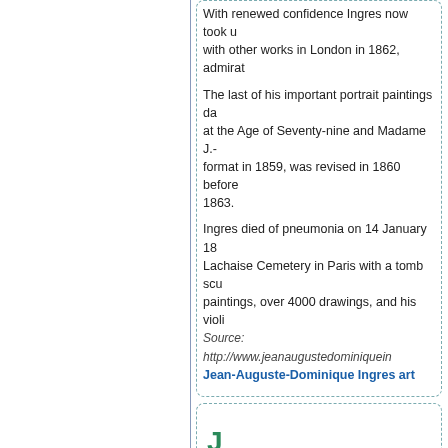With renewed confidence Ingres now took u... with other works in London in 1862, admirat...
The last of his important portrait paintings da... at the Age of Seventy-nine and Madame J.-... format in 1859, was revised in 1860 before ... 1863.
Ingres died of pneumonia on 14 January 18... Lachaise Cemetery in Paris with a tomb scu... paintings, over 4000 drawings, and his violi... Source: http://www.jeanaugustedominiquein...
Jean-Auguste-Dominique Ingres art
J
Peter Jac...
Peter Charles: Peter Jackson... wonderful Lo... in two memor... his career ada... the Evening N... of books, incl... London.
[Figure (illustration): Illustration of a man operating a barrel organ on a wheeled cart, with several children gathered around watching.]
Jackson trained at the Willesden School of A...